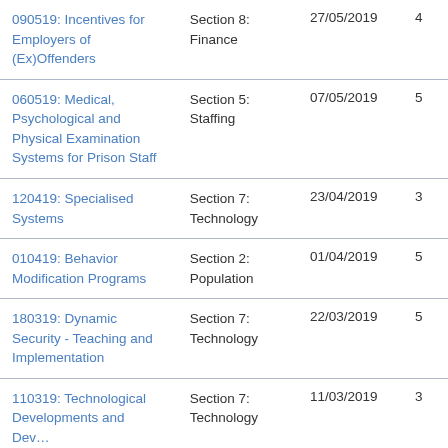| Title | Section | Date |  |
| --- | --- | --- | --- |
| 090519: Incentives for Employers of (Ex)Offenders | Section 8: Finance | 27/05/2019 | 4 |
| 060519: Medical, Psychological and Physical Examination Systems for Prison Staff | Section 5: Staffing | 07/05/2019 | 5 |
| 120419: Specialised Systems | Section 7: Technology | 23/04/2019 | 3 |
| 010419: Behavior Modification Programs | Section 2: Population | 01/04/2019 | 5 |
| 180319: Dynamic Security - Teaching and Implementation | Section 7: Technology | 22/03/2019 | 5 |
| 110319: Technological Developments and Dev… | Section 7: Technology | 11/03/2019 | 3 |